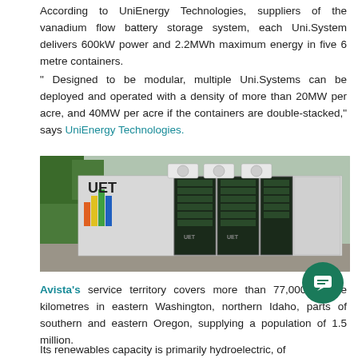According to UniEnergy Technologies, suppliers of the vanadium flow battery storage system, each Uni.System delivers 600kW power and 2.2MWh maximum energy in five 6 metre containers.
" Designed to be modular, multiple Uni.Systems can be deployed and operated with a density of more than 20MW per acre, and 40MW per acre if the containers are double-stacked," says UniEnergy Technologies.
[Figure (photo): Photo of UniEnergy Technologies (UET) vanadium flow battery storage system in shipping containers, with container doors open showing battery racks inside]
Avista's service territory covers more than 77,000 square kilometres in eastern Washington, northern Idaho, parts of southern and eastern Oregon, supplying a population of 1.5 million.
Its renewables capacity is primarily hydroelectric, of